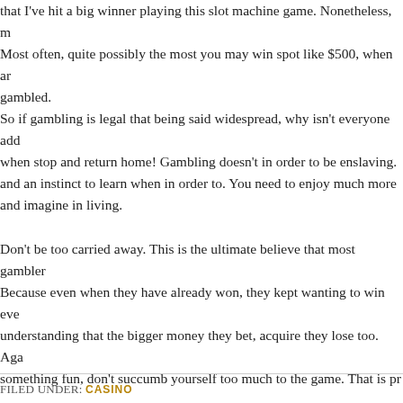that I've hit a big winner playing this slot machine game. Nonetheless, m Most often, quite possibly the most you may win spot like $500, when ar gambled.
So if gambling is legal that being said widespread, why isn't everyone add when stop and return home! Gambling doesn't in order to be enslaving. and an instinct to learn when in order to. You need to enjoy much more and imagine in living.
Don't be too carried away. This is the ultimate believe that most gambler Because even when they have already won, they kept wanting to win eve understanding that the bigger money they bet, acquire they lose too. Aga something fun, don't succumb yourself too much to the game. That is pr
FILED UNDER: CASINO